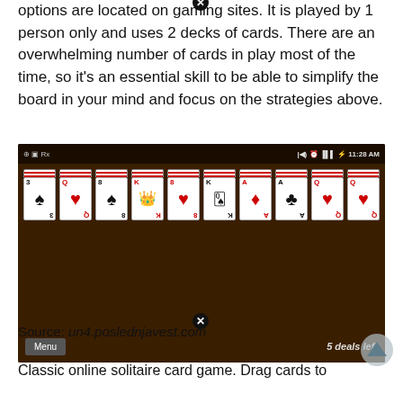options are located on gaming sites. It is played by 1 person only and uses 2 decks of cards. There are an overwhelming number of cards in play most of the time, so it's an essential skill to be able to simplify the board in your mind and focus on the strategies above.
[Figure (screenshot): Screenshot of a mobile solitaire card game app showing 10 columns of cards with face-up cards including spades, hearts, diamonds, and clubs. Status bar shows 11:28 AM. Bottom shows Menu button and '5 deals left' text.]
Source: un4.poslednjavest.com
Classic online solitaire card game. Drag cards to